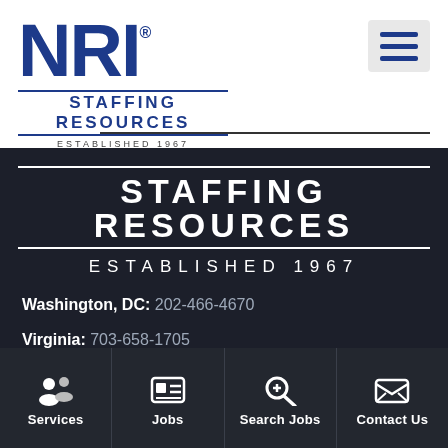[Figure (logo): NRI Staffing Resources logo with blue bold NRI text, underline staffing resources text, established 1967]
[Figure (other): Hamburger menu icon (three horizontal lines) on light gray background]
STAFFING RESOURCES
ESTABLISHED 1967
Washington, DC: 202-466-4670
Virginia: 703-658-1705
Services
Jobs
Search Jobs
Contact Us